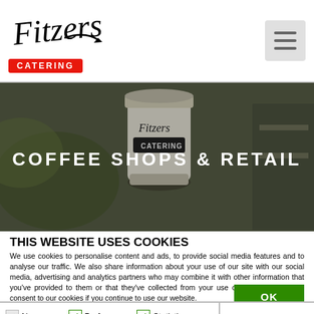Fitzers Catering — navigation header with logo and hamburger menu
[Figure (photo): Hero banner image showing a Fitzers Catering branded coffee cup with blurred background, overlaid with text 'COFFEE SHOPS & RETAIL' in large white uppercase letters]
THIS WEBSITE USES COOKIES
We use cookies to personalise content and ads, to provide social media features and to analyse our traffic. We also share information about your use of our site with our social media, advertising and analytics partners who may combine it with other information that you've provided to them or that they've collected from your use of their services. You consent to our cookies if you continue to use our website.
OK
Necessary  Preferences  Statistics  Marketing  Show details